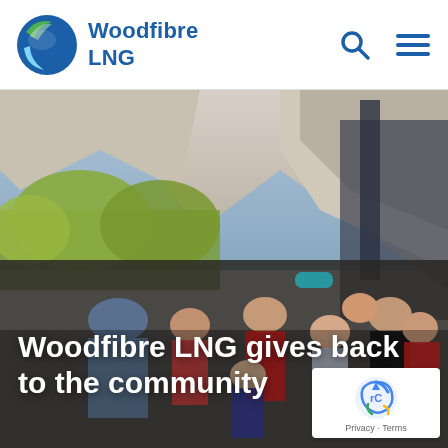Woodfibre LNG
[Figure (photo): Group photo of adults and children outdoors with mountains and trees in the background. Several children are wearing Christmas-themed t-shirts with Santa designs. One child wears a pirate skull-and-crossbones shirt. Setting appears to be a community event in a mountain town.]
Woodfibre LNG gives back to the community